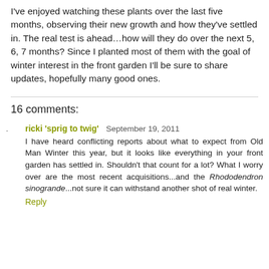I've enjoyed watching these plants over the last five months, observing their new growth and how they've settled in. The real test is ahead…how will they do over the next 5, 6, 7 months? Since I planted most of them with the goal of winter interest in the front garden I'll be sure to share updates, hopefully many good ones.
16 comments:
ricki 'sprig to twig'  September 19, 2011
I have heard conflicting reports about what to expect from Old Man Winter this year, but it looks like everything in your front garden has settled in. Shouldn't that count for a lot? What I worry over are the most recent acquisitions...and the Rhododendron sinogrande...not sure it can withstand another shot of real winter.
Reply